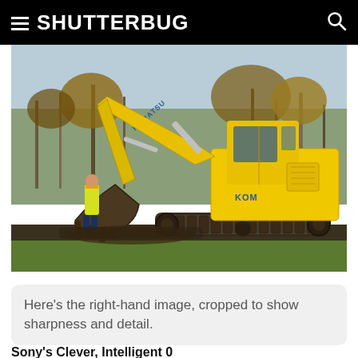SHUTTERBUG
[Figure (photo): A yellow Komatsu excavator with its bucket lowered to the ground, a worker in a high-visibility vest standing near the left side. Autumn trees in the background, green grass at the bottom, overcast sky.]
Here's the right-hand image, cropped to show sharpness and detail.
Sony's Clever, Intelligent 0